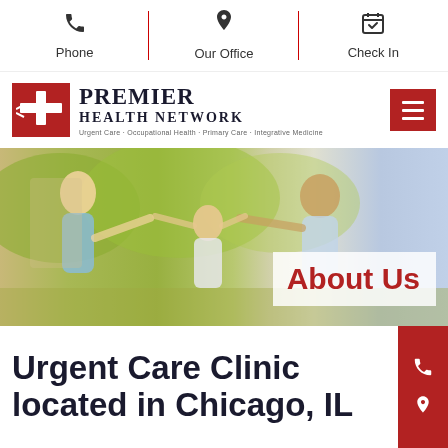Phone | Our Office | Check In
[Figure (logo): Premier Health Network logo — red box with cross icon, text 'PREMIER HEALTH NETWORK', tagline 'Urgent Care · Occupational Health · Primary Care · Integrative Medicine']
[Figure (photo): Hero banner photo of a family — woman with long blonde hair, young girl, and man in light blue shirt holding hands outdoors. 'About Us' text overlay in red on white semi-transparent box.]
Urgent Care Clinic located in Chicago, IL